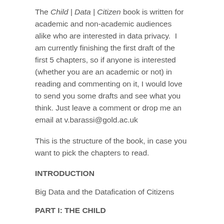The Child | Data | Citizen book is written for academic and non-academic audiences alike who are interested in data privacy.  I am currently finishing the first draft of the first 5 chapters, so if anyone is interested (whether you are an academic or not) in reading and commenting on it, I would love to send you some drafts and see what you think. Just leave a comment or drop me an email at v.barassi@gold.ac.uk
This is the structure of the book, in case you want to pick the chapters to read.
INTRODUCTION
Big Data and the Datafication of Citizens
PART I: THE CHILD